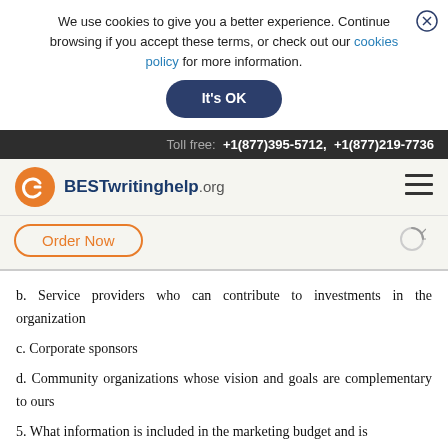We use cookies to give you a better experience. Continue browsing if you accept these terms, or check out our cookies policy for more information.
It's OK
Toll free: +1(877)395-5712, +1(877)219-7736
[Figure (logo): BESTwritinghelp.org logo with orange circular G icon]
Order Now
b. Service providers who can contribute to investments in the organization
c. Corporate sponsors
d. Community organizations whose vision and goals are complementary to ours
5. What information is included in the marketing budget and is